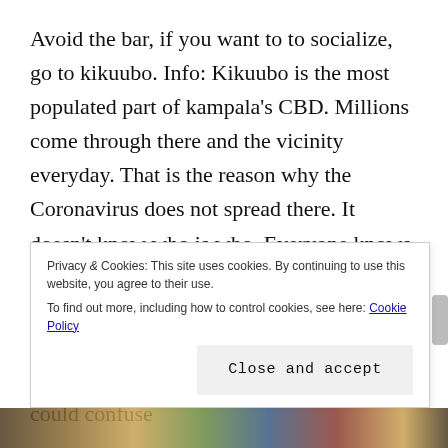Avoid the bar, if you want to to socialize, go to kikuubo. Info: Kikuubo is the most populated part of kampala's CBD. Millions come through there and the vicinity everyday. That is the reason why the Coronavirus does not spread there. It doesn't know who is who. Everyone knows the amount of confusion the chaos of Kikuubo brings to a person. It's dizzying. Now just imagine what it would do to a tiny submicroscopic being. That chaos could confuse
Privacy & Cookies: This site uses cookies. By continuing to use this website, you agree to their use. To find out more, including how to control cookies, see here: Cookie Policy
Close and accept
[Figure (photo): Strip of colorful market photos at the bottom of the page]